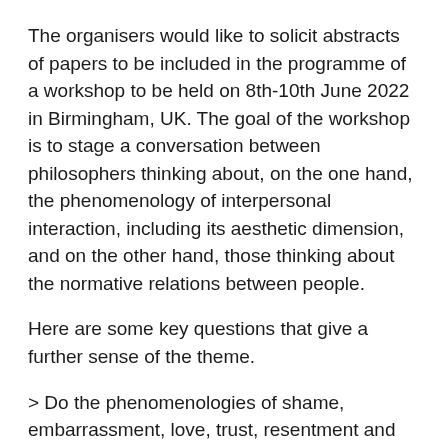The organisers would like to solicit abstracts of papers to be included in the programme of a workshop to be held on 8th-10th June 2022 in Birmingham, UK. The goal of the workshop is to stage a conversation between philosophers thinking about, on the one hand, the phenomenology of interpersonal interaction, including its aesthetic dimension, and on the other hand, those thinking about the normative relations between people.
Here are some key questions that give a further sense of the theme.
> Do the phenomenologies of shame, embarrassment, love, trust, resentment and other reactive attitudes cast light on the grounds of interpersonal normativity?
> What is the connection between deontic interpersonal normativity (i.e. relations of right and duty) and